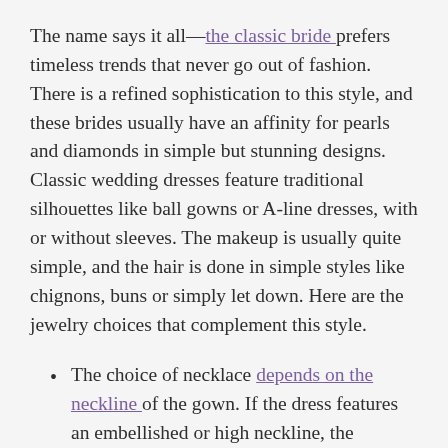The name says it all—the classic bride prefers timeless trends that never go out of fashion. There is a refined sophistication to this style, and these brides usually have an affinity for pearls and diamonds in simple but stunning designs. Classic wedding dresses feature traditional silhouettes like ball gowns or A-line dresses, with or without sleeves. The makeup is usually quite simple, and the hair is done in simple styles like chignons, buns or simply let down. Here are the jewelry choices that complement this style.
The choice of necklace depends on the neckline of the gown. If the dress features an embellished or high neckline, the necklace can be eliminated. If not, these brides usually prefer a string of pearls or a simple necklace with a stone studded pendant. If the bride opts for color, this can be achieved with